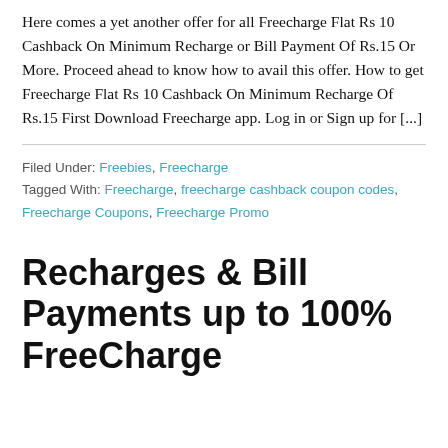Here comes a yet another offer for all Freecharge Flat Rs 10 Cashback On Minimum Recharge or Bill Payment Of Rs.15 Or More. Proceed ahead to know how to avail this offer. How to get Freecharge Flat Rs 10 Cashback On Minimum Recharge Of Rs.15 First Download Freecharge app. Log in or Sign up for [...]
Filed Under: Freebies, Freecharge
Tagged With: Freecharge, freecharge cashback coupon codes, Freecharge Coupons, Freecharge Promo
Recharges & Bill Payments up to 100% FreeCharge